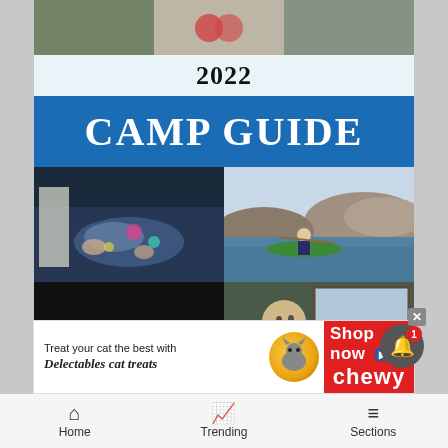[Figure (photo): Top strip photo collage showing children and outdoor activities]
2022
CAMP GUIDE
[Figure (photo): Four-photo grid: children drawing on dark paper (top-left), person kayaking in a river with rocky landscape (top-right), group at a night performance or camp fire event (bottom-left), boy looking out a vehicle window (bottom-right)]
[Figure (photo): Advertisement banner: Treat your cat the best with Delectables cat treats. Shop now. Chewy.]
Home   Trending   Sections